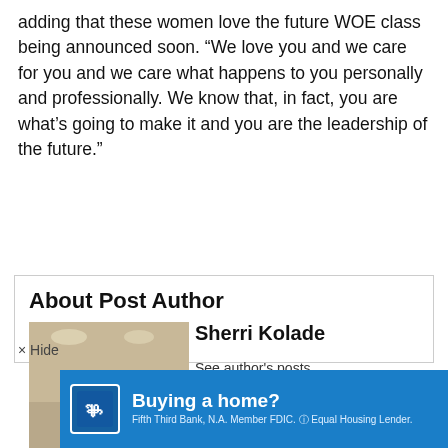adding that these women love the future WOE class being announced soon. “We love you and we care for you and we care what happens to you personally and professionally. We know that, in fact, you are what’s going to make it and you are the leadership of the future.”
About Post Author
[Figure (photo): Author photo of Sherri Kolade, a woman smiling at the camera, selfie style]
Sherri Kolade
See author’s posts
× Hide
[Figure (infographic): Fifth Third Bank advertisement banner: Buying a home? Fifth Third Bank, N.A. Member FDIC. Equal Housing Lender.]